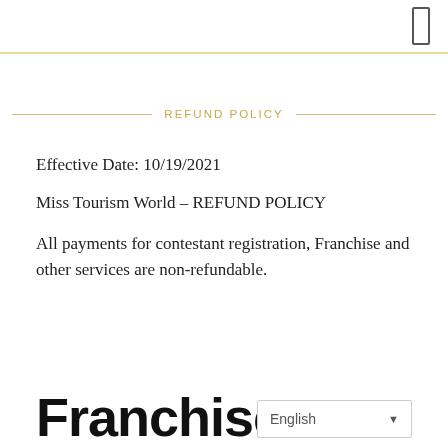REFUND POLICY
Effective Date: 10/19/2021
Miss Tourism World – REFUND POLICY
All payments for contestant registration, Franchise and other services are non-refundable.
Franchise